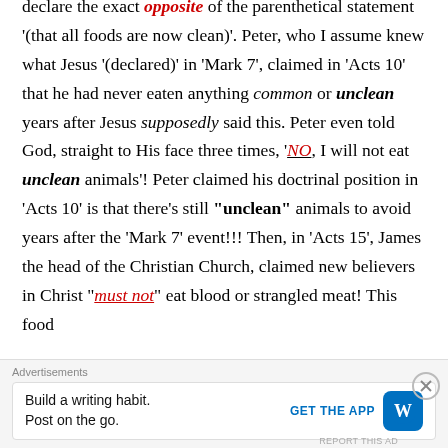declare the exact opposite of the parenthetical statement '(that all foods are now clean)'. Peter, who I assume knew what Jesus '(declared)' in 'Mark 7', claimed in 'Acts 10' that he had never eaten anything common or unclean years after Jesus supposedly said this. Peter even told God, straight to His face three times, 'NO, I will not eat unclean animals'! Peter claimed his doctrinal position in 'Acts 10' is that there's still "unclean" animals to avoid years after the 'Mark 7' event!!! Then, in 'Acts 15', James the head of the Christian Church, claimed new believers in Christ "must not" eat blood or strangled meat! This food
Advertisements
Build a writing habit. Post on the go. GET THE APP